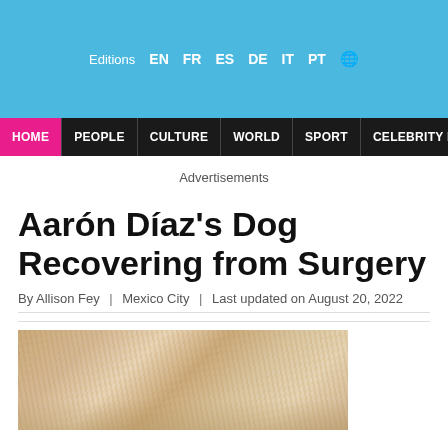Editions EN FR ES DE IT PT [globe]
HOME | PEOPLE | CULTURE | WORLD | SPORT | CELEBRITY BIRTHDAYS
Advertisements
Aarón Díaz's Dog Recovering from Surgery
By Allison Fey | Mexico City | Last updated on August 20, 2022
[Figure (photo): Close-up photo of a golden/light-colored dog recovering, showing fur detail]